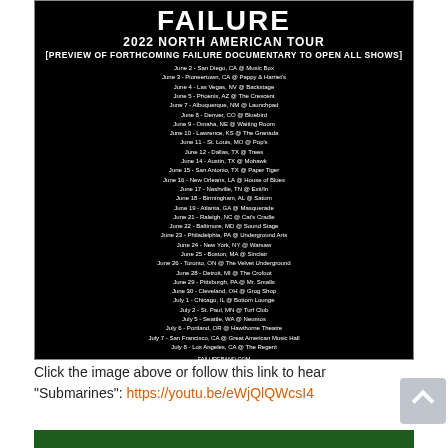[Figure (infographic): Black concert poster for FAILURE 2022 North American Tour listing all tour dates and venues, with social media info and 'TICKETS ON SALE NOW' at the bottom.]
Click the image above or follow this link to hear "Submarines": https://youtu.be/eWjQlQWcsI4